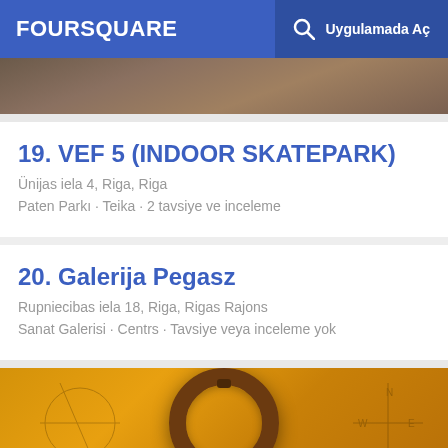FOURSQUARE  Uygulamada Aç
[Figure (photo): Partial photo at top of page, brownish tones, appears to be skatepark or indoor venue]
19. VEF 5 (INDOOR SKATEPARK)
Ünijas iela 4, Riga, Riga
Paten Parkı · Teika · 2 tavsiye ve inceleme
20. Galerija Pegasz
Rupniecibas iela 18, Riga, Rigas Rajons
Sanat Galerisi · Centrs · Tavsiye veya inceleme yok
[Figure (photo): Photo of a decorative ring/band on a yellow/golden background with compass or measurement markings]